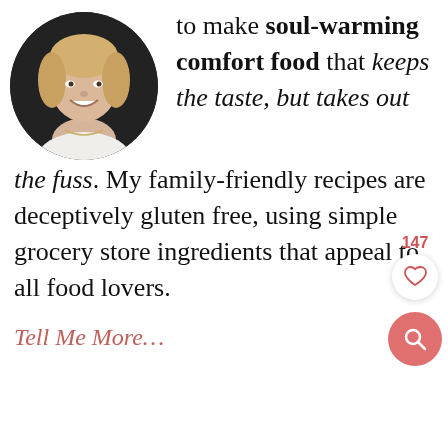[Figure (photo): Circular cropped portrait photo of a smiling blonde woman wearing a white top with floral details and a delicate necklace, against a dark background.]
to make soul-warming comfort food that keeps the taste, but takes out the fuss. My family-friendly recipes are deceptively gluten free, using simple grocery store ingredients that appeal to all food lovers.
Tell Me More…